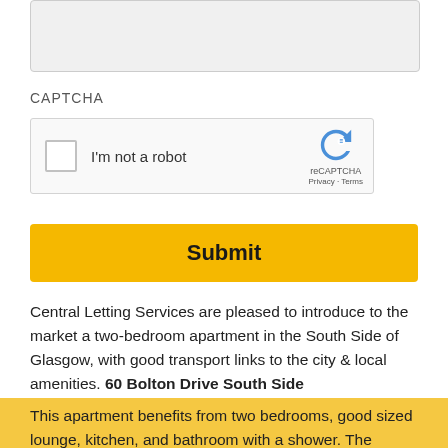[Figure (screenshot): Top portion of a gray input area (textarea or form field), cropped at top of page]
CAPTCHA
[Figure (screenshot): reCAPTCHA widget with checkbox, 'I'm not a robot' label, reCAPTCHA logo, and Privacy/Terms links]
[Figure (screenshot): Yellow Submit button]
Central Letting Services are pleased to introduce to the market a two-bedroom apartment in the South Side of Glasgow, with good transport links to the city & local amenities. 60 Bolton Drive South Side
This apartment benefits from two bedrooms, good sized lounge, kitchen, and bathroom with a shower. The property